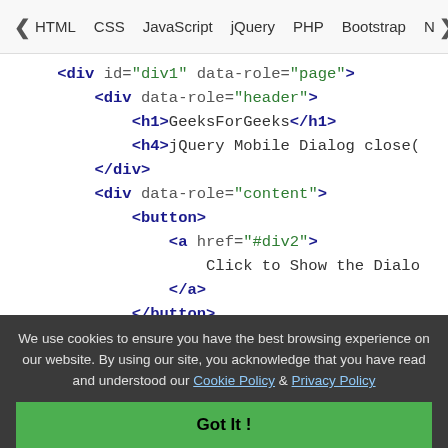< HTML  CSS  JavaScript  jQuery  PHP  Bootstrap  N>
[Figure (screenshot): Code editor showing HTML snippet with div elements, data-role attributes, h1, h4, button, and anchor tags, plus a comment for div2]
We use cookies to ensure you have the best browsing experience on our website. By using our site, you acknowledge that you have read and understood our Cookie Policy & Privacy Policy
Got It !